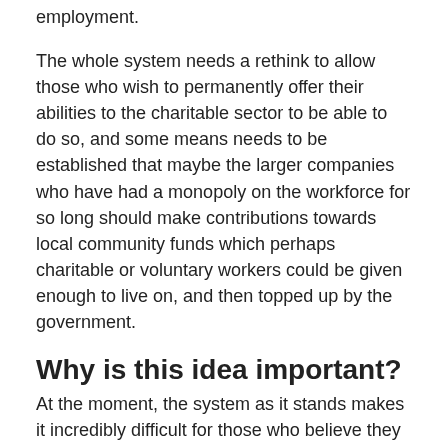employment.
The whole system needs a rethink to allow those who wish to permanently offer their abilities to the charitable sector to be able to do so, and some means needs to be established that maybe the larger companies who have had a monopoly on the workforce for so long should make contributions towards local community funds which perhaps charitable or voluntary workers could be given enough to live on, and then topped up by the government.
Why is this idea important?
At the moment, the system as it stands makes it incredibly difficult for those who believe they have a genuine ability and predisposition for charitable work to make an active decision when they leave school and through their lives to enter such work.
People should have the freedom to enter such work